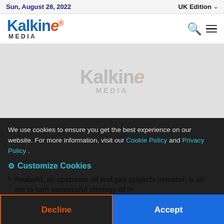Sun, August 28, 2022 | UK Edition
[Figure (logo): Kalkine Media logo with blue 'Kalkine' text, orange 'e' stylized, and 'MEDIA' subtitle]
[Figure (photo): Kalkine Media placeholder image with watermark logo on grey background]
We use cookies to ensure you get the best experience on our website. For more information, visit our Cookie Policy and Privacy Policy .
⚙ Customize Cookies
Reabold, an upstream oil and gas projects investor, is all set to turn successful strategy of investing in oil and gas projects with high potential